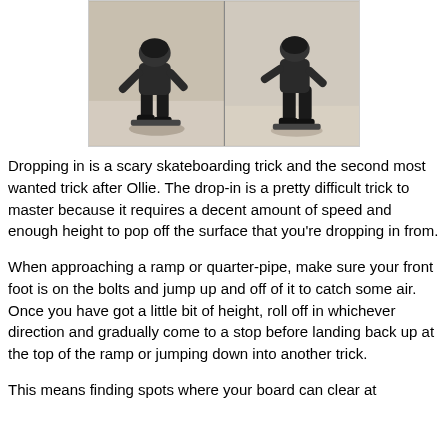[Figure (photo): Two side-by-side photos of a young skateboarder performing a drop-in trick on a skate ramp, wearing a helmet and dark clothing.]
Dropping in is a scary skateboarding trick and the second most wanted trick after Ollie. The drop-in is a pretty difficult trick to master because it requires a decent amount of speed and enough height to pop off the surface that you’re dropping in from.
When approaching a ramp or quarter-pipe, make sure your front foot is on the bolts and jump up and off of it to catch some air. Once you have got a little bit of height, roll off in whichever direction and gradually come to a stop before landing back up at the top of the ramp or jumping down into another trick.
This means finding spots where your board can clear at